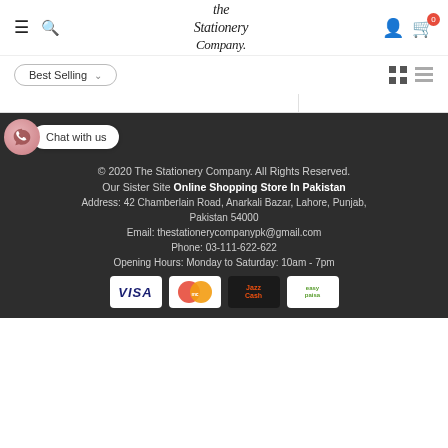The Stationery Company — navigation header with hamburger, search, logo, user and cart icons
Best Selling — sort dropdown with grid/list view toggle
[Figure (screenshot): Partial product listing area and footer with chat widget, copyright, sister site link, address, email, phone, opening hours, and payment logos]
© 2020 The Stationery Company. All Rights Reserved. Our Sister Site Online Shopping Store In Pakistan Address: 42 Chamberlain Road, Anarkali Bazar, Lahore, Punjab, Pakistan 54000 Email: thestationerycompanypk@gmail.com Phone: 03-111-622-622 Opening Hours: Monday to Saturday: 10am - 7pm